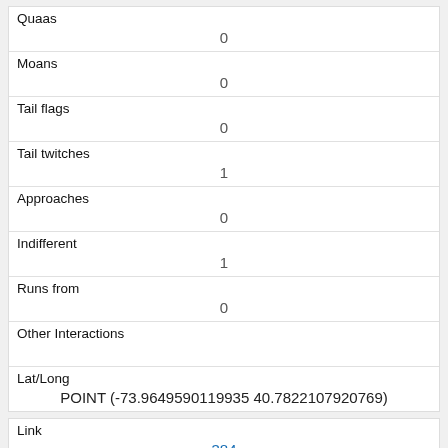| Quaas | 0 |
| Moans | 0 |
| Tail flags | 0 |
| Tail twitches | 1 |
| Approaches | 0 |
| Indifferent | 1 |
| Runs from | 0 |
| Other Interactions |  |
| Lat/Long | POINT (-73.9649590119935 40.7822107920769) |
| Link | 384 |